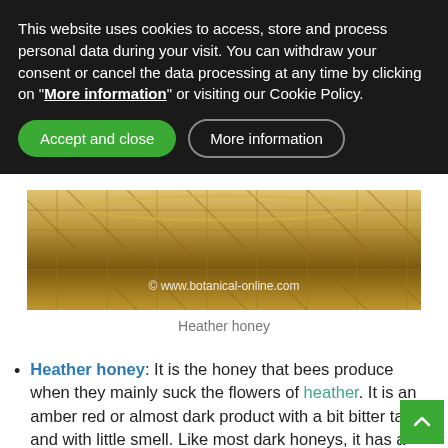This website uses cookies to access, store and process personal data during your visit. You can withdraw your consent or cancel the data processing at any time by clicking on "More information" or visiting our Cookie Policy.
[Figure (photo): Photo of a wicker basket with heather honey, with watermark '© www.botanical-online.com']
Heather honey
Heather honey: It is the honey that bees produce when they mainly suck the flowers of heather. It is an amber red or almost dark product with a bit bitter taste and with little smell. Like most dark honeys, it has a high mineral content.
Chestnut honey: It is the honey produced by b...